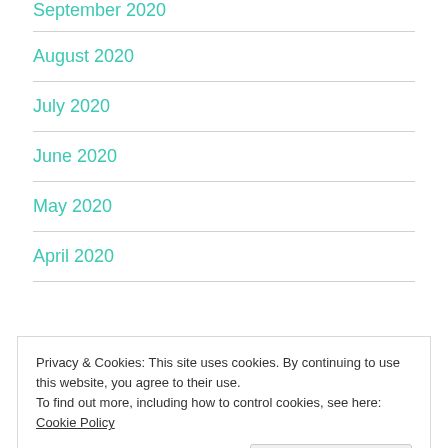September 2020
August 2020
July 2020
June 2020
May 2020
April 2020
Privacy & Cookies: This site uses cookies. By continuing to use this website, you agree to their use.
To find out more, including how to control cookies, see here: Cookie Policy
December 2019